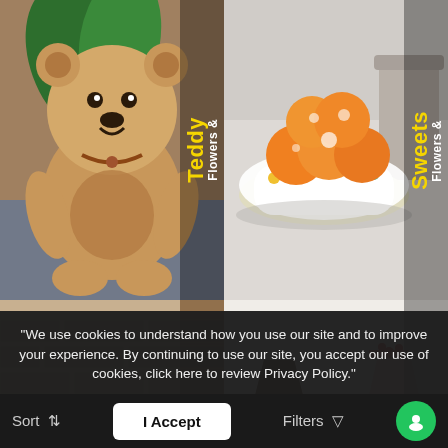[Figure (photo): Teddy bear photo with 'Flowers & Teddy' vertical text overlay on right side in white and yellow]
[Figure (photo): Orange sweets/laddoos in a decorative bowl with 'Flowers & Sweets' vertical text overlay in white and yellow]
[Figure (photo): Pink and white flowers in a vase with fruit basket and brick wall background, 'Flowers & Fruits' vertical text in brown/yellow]
[Figure (photo): Assorted cakes, chocolates and flowers combo gifts with 'Combo Gifts' vertical text in white and yellow]
"We use cookies to understand how you use our site and to improve your experience. By continuing to use our site, you accept our use of cookies, click here to review Privacy Policy."
Sort | I Accept | Filters